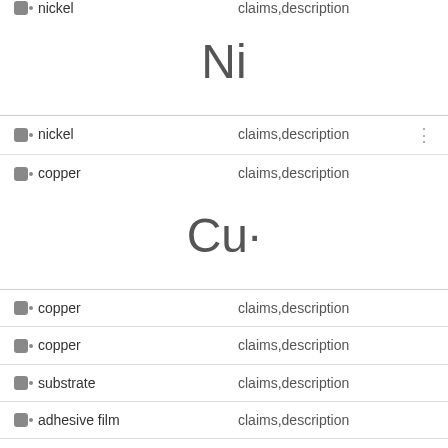nickel — claims,description
[Figure (other): Chemical symbol Ni (Nickel) displayed large]
nickel — claims,description
copper — claims,description
[Figure (other): Chemical symbol Cu (Copper) displayed large]
copper — claims,description
copper — claims,description
substrate — claims,description
adhesive film — claims,description
etching — claims,description
conductor — claims,description